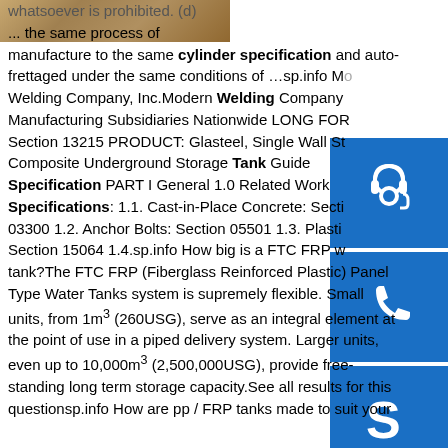[Figure (photo): Partial image of a metal or industrial object at the top left corner]
[Figure (other): Blue sidebar button with headset/customer support icon]
[Figure (other): Blue sidebar button with phone icon]
[Figure (other): Blue sidebar button with Skype icon]
whatsoever is prohibited. (d) ... the same process of manufacture to the same cylinder specification and auto-frettaged under the same conditions of …sp.info Modern Welding Company, Inc.Modern Welding Company Manufacturing Subsidiaries Nationwide LONG FORM Section 13215 PRODUCT: Glasteel, Single Wall Steel Composite Underground Storage Tank Guide Specification PART I General 1.0 Related Work Specifications: 1.1. Cast-in-Place Concrete: Section 03300 1.2. Anchor Bolts: Section 05501 1.3. Plastics: Section 15064 1.4.sp.info How big is a FTC FRP water tank?The FTC FRP (Fiberglass Reinforced Plastic) Panel Type Water Tanks system is supremely flexible. Small units, from 1m³ (260USG), serve as an integral element at the point of use in a piped delivery system. Larger units, even up to 10,000m³ (2,500,000USG), provide free-standing long term storage capacity.See all results for this questionsp.info How are pp / FRP tanks made to suit your